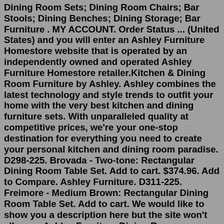Dining Room Sets; Dining Room Chairs; Bar Stools; Dining Benches; Dining Storage; Bar Furniture . MY ACCOUNT. Order Status ... (United States) and you will enter an Ashley Furniture Homestore website that is operated by an independently owned and operated Ashley Furniture Homestore retailer.Kitchen & Dining Room Furniture by Ashley. Ashley combines the latest technology and style trends to outfit your home with the very best kitchen and dining furniture sets. With unparalleled quality at competitive prices, we're your one-stop destination for everything you need to create your personal kitchen and dining room paradise. D298-225. Brovada - Two-tone: Rectangular Dining Room Table Set. Add to cart. $374.96. Add to Compare. Ashley Furniture. D311-225. Freimore - Medium Brown: Rectangular Dining Room Table Set. Add to cart. We would like to show you a description here but the site won't allow us.Ashley Furniture Dining Room Furniture. Ashley Furniture is an award-winning furniture company that began as a furniture sales